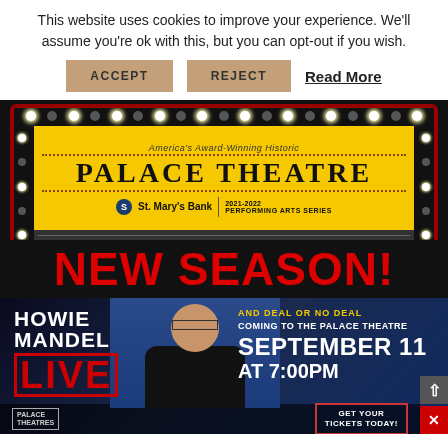This website uses cookies to improve your experience. We'll assume you're ok with this, but you can opt-out if you wish.
ACCEPT   REJECT   Read More
[Figure (photo): Palace Theatre marquee sign with yellow background showing 'PALACE THEATRE' text, St. Mary's Bank logo, '2021-2022 PERFORMING ARTS SERIES', surrounded by red border with white lights on black background, with 'NEW SEASON!' in large red text below]
[Figure (photo): Howie Mandel Live advertisement banner showing 'HOWIE MANDEL LIVE' text on the left with photo of Howie Mandel in center, and 'AND DEAL OR NO DEAL / COMING TO THE PALACE THEATRE / SEPTEMBER 11 / AT 7:00PM' on the right, with 'GET YOUR TICKETS TODAY!' button at bottom, Palace Theatres logo at bottom left]